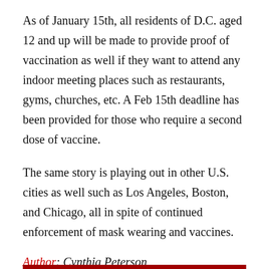As of January 15th, all residents of D.C. aged 12 and up will be made to provide proof of vaccination as well if they want to attend any indoor meeting places such as restaurants, gyms, churches, etc. A Feb 15th deadline has been provided for those who require a second dose of vaccine.
The same story is playing out in other U.S. cities as well such as Los Angeles, Boston, and Chicago, all in spite of continued enforcement of mask wearing and vaccines.
Author: Cynthia Peterson